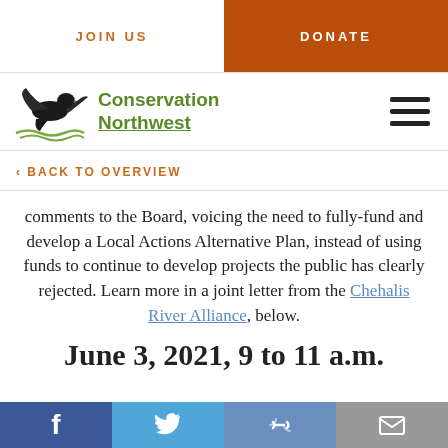JOIN US | DONATE
[Figure (logo): Conservation Northwest logo with eagle and green text]
‹ BACK TO OVERVIEW
comments to the Board, voicing the need to fully-fund and develop a Local Actions Alternative Plan, instead of using funds to continue to develop projects the public has clearly rejected. Learn more in a joint letter from the Chehalis River Alliance, below.
June 3, 2021, 9 to 11 a.m.
f | Twitter | link | email